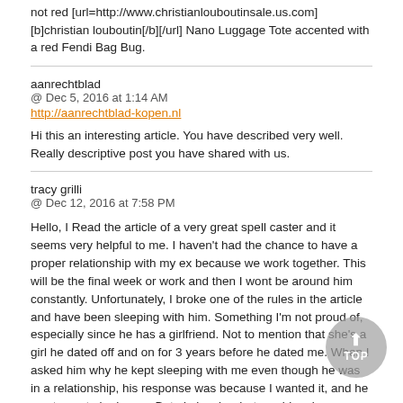not red [url=http://www.christianlouboutinsale.us.com][b]christian louboutin[/b][/url] Nano Luggage Tote accented with a red Fendi Bag Bug.
aanrechtblad
@ Dec 5, 2016 at 1:14 AM
http://aanrechtblad-kopen.nl

Hi this an interesting article. You have described very well. Really descriptive post you have shared with us.
tracy grilli
@ Dec 12, 2016 at 7:58 PM

Hello, I Read the article of a very great spell caster and it seems very helpful to me. I haven't had the chance to have a proper relationship with my ex because we work together. This will be the final week or work and then I wont be around him constantly. Unfortunately, I broke one of the rules in the article and have been sleeping with him. Something I'm not proud of, especially since he has a girlfriend. Not to mention that she's a girl he dated off and on for 3 years before he dated me. When I asked him why he kept sleeping with me even though he was in a relationship, his response was because I wanted it, and he wants me to be happy. But obviously what would make me happy would be to have him all to myself. That was when i read about dr alexzander on how he help people in saving their relationship and i was really despirate for his help. There were things in our relationship that were tough. We traveled for 4 months right in the beginning, and it was hard due to different expectations. When we returned our living situation was unstable which caused a lot of stress on my end. And when I ask why he didn't give me a chance to make things better he said he gave me tons of chances. Oh, and he compared our relationship with his past. He says that things were great, and then they went bad really fast, and thats why his back with his ex. Because it